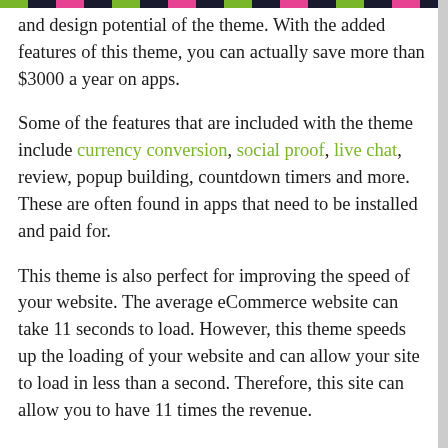and design potential of the theme. With the added features of this theme, you can actually save more than $3000 a year on apps.
Some of the features that are included with the theme include currency conversion, social proof, live chat, review, popup building, countdown timers and more. These are often found in apps that need to be installed and paid for.
This theme is also perfect for improving the speed of your website. The average eCommerce website can take 11 seconds to load. However, this theme speeds up the loading of your website and can allow your site to load in less than a second. Therefore, this site can allow you to have 11 times the revenue.